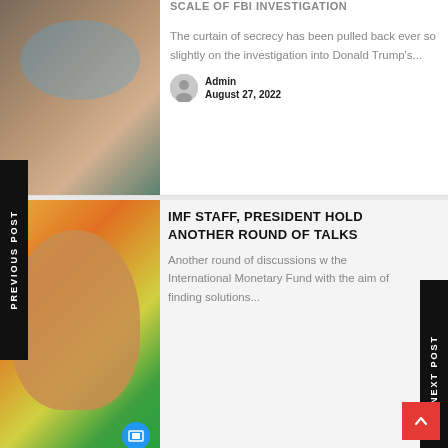[Figure (photo): Aerial view of Mar-a-Lago estate with pool and palm trees]
SCALE OF FBI INVESTIGATION
The curtain of secrecy has been pulled back ever so slightly on the investigation into Donald Trump's...
Admin
August 27, 2022
[Figure (photo): Portrait photo of Sri Lanka President Ranil Wickremesinghe in front of Sri Lanka flag]
IMF STAFF, PRESIDENT HOLD ANOTHER ROUND OF TALKS
Another round of discussions with the International Monetary Fund with the aim of finding solutions...
Admin
August 27, 2022
[Figure (photo): Two people in front of school building]
US DONATES 3,000 MT OF FOOD TO FEED LANKAN SCHOOL CHILDREN